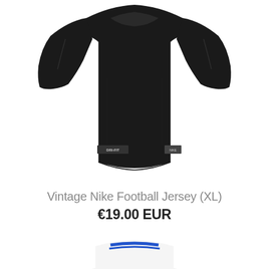[Figure (photo): Black Nike Dri-FIT long sleeve football jersey laid flat, showing front view with Dri-FIT logo on lower left and Nike label on lower right]
Vintage Nike Football Jersey (XL)
€19.00 EUR
[Figure (photo): Partial view of a white jersey with blue collar stripe at the bottom of the page]